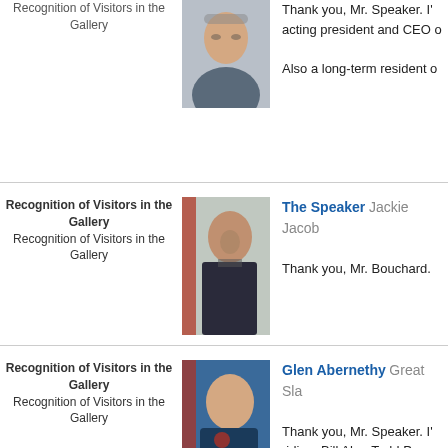Recognition of Visitors in the Gallery
[Figure (photo): Portrait photo of a man with glasses in a suit]
Thank you, Mr. Speaker. I'd like to introduce... acting president and CEO... Also a long-term resident o...
Recognition of Visitors in the Gallery
Recognition of Visitors in the Gallery
[Figure (photo): Portrait photo of The Speaker in ceremonial robes]
The Speaker  Jackie Jacob...  Thank you, Mr. Bouchard.
Recognition of Visitors in the Gallery
Recognition of Visitors in the Gallery
[Figure (photo): Portrait photo of Glen Abernethy]
Glen Abernethy  Great Sla...  Thank you, Mr. Speaker. I'd like to introduce visitors from my riding: Bill Aho; Todd Parso... Roth; David Brock; Kathy R... Guy; Gary Bohnet; Mike Au... course, my mom and dad, although the... Dick and Loretta Abernethy.